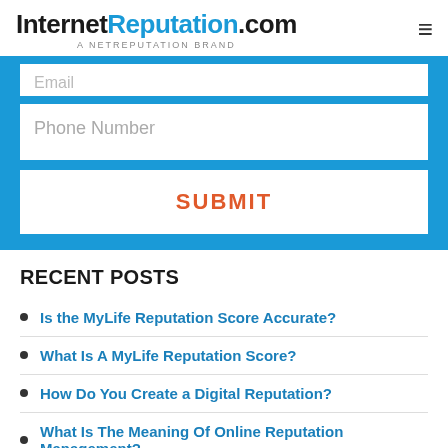InternetReputation.com — A NETREPUTATION BRAND
[Figure (screenshot): Email input field (partially visible at top), Phone Number input field, and SUBMIT button on a blue background form]
RECENT POSTS
Is the MyLife Reputation Score Accurate?
What Is A MyLife Reputation Score?
How Do You Create a Digital Reputation?
What Is The Meaning Of Online Reputation Management?